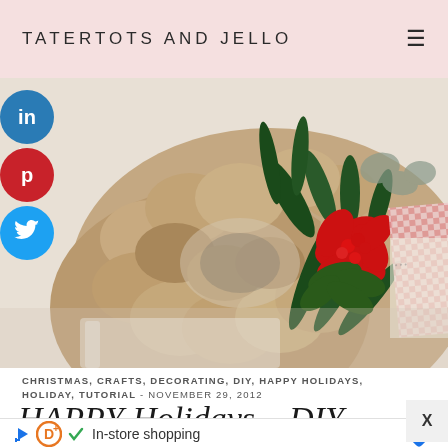TATERTOTS AND JELLO
[Figure (photo): A Christmas burlap wreath decorated with poinsettia flowers, holly leaves, red berries, greenery pine branches, and a red gingham ribbon, hanging indoors.]
CHRISTMAS, CRAFTS, DECORATING, DIY, HAPPY HOLIDAYS, HOLIDAY, TUTORIAL - NOVEMBER 29, 2012
HAPPY Holidays – DIY
In-store shopping